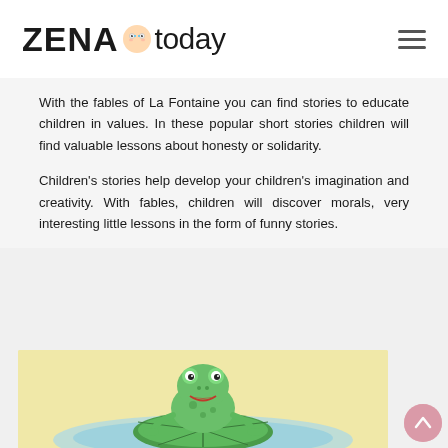ZENA today
With the fables of La Fontaine you can find stories to educate children in values. In these popular short stories children will find valuable lessons about honesty or solidarity.
Children's stories help develop your children's imagination and creativity. With fables, children will discover morals, very interesting little lessons in the form of funny stories.
[Figure (illustration): Cartoon illustration of a green frog sitting on a lily pad with water in the background, against a pale yellow background.]